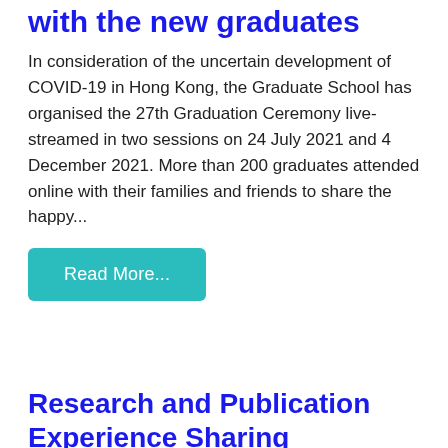with the new graduates
In consideration of the uncertain development of COVID-19 in Hong Kong, the Graduate School has organised the 27th Graduation Ceremony live-streamed in two sessions on 24 July 2021 and 4 December 2021. More than 200 graduates attended online with their families and friends to share the happy...
Read More...
Research and Publication Experience Sharing
The Graduate School organised the